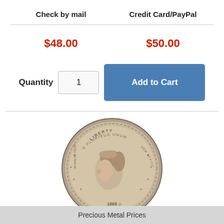| Check by mail | Credit Card/PayPal |
| --- | --- |
| $48.00 | $50.00 |
Quantity  1  Add to Cart
[Figure (photo): Morgan Silver Dollar coin showing obverse (Lady Liberty portrait) dated 1888]
1888-O Morgan Silver Dollar Nicely Circulated - Great Set Builder - STOCK
Precious Metal Prices